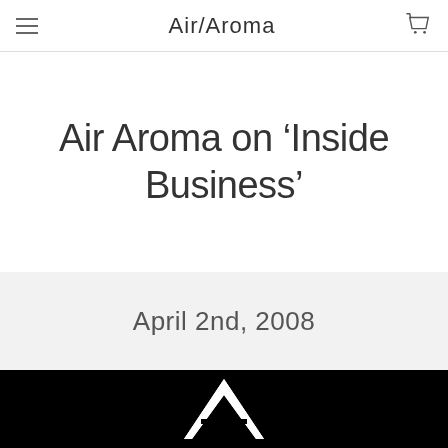Air/Aroma
Air Aroma on ‘Inside Business’
April 2nd, 2008
[Figure (logo): Air Aroma logo — a stylized letter A in white on a black background]